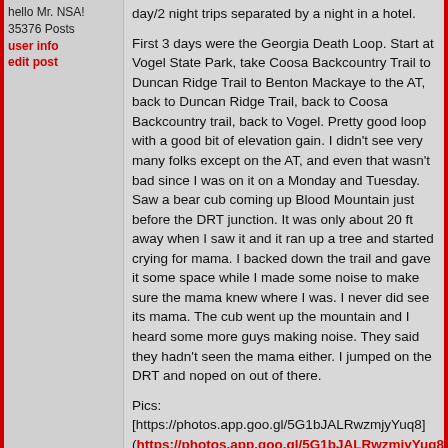hello Mr. NSA!
35376 Posts
user info
edit post
day/2 night trips separated by a night in a hotel.

First 3 days were the Georgia Death Loop. Start at Vogel State Park, take Coosa Backcountry Trail to Duncan Ridge Trail to Benton Mackaye to the AT, back to Duncan Ridge Trail, back to Coosa Backcountry trail, back to Vogel. Pretty good loop with a good bit of elevation gain. I didn't see very many folks except on the AT, and even that wasn't bad since I was on it on a Monday and Tuesday. Saw a bear cub coming up Blood Mountain just before the DRT junction. It was only about 20 ft away when I saw it and it ran up a tree and started crying for mama. I backed down the trail and gave it some space while I made some noise to make sure the mama knew where I was. I never did see its mama. The cub went up the mountain and I heard some more guys making noise. They said they hadn't seen the mama either. I jumped on the DRT and noped on out of there.

Pics:
[https://photos.app.goo.gl/5G1bJALRwzmjyYuq8]
(https://photos.app.goo.gl/5G1bJALRwzmjyYuq8)

After spending a night in Murphy, NC, I did 3 days just wandering around with no real agenda in Joyce Kilmer - Slickrock Wilderness and Citico Creek Wilderness. I parked at Beech Gap on the TN/NC state line on the Cherohala Skyway. Went to the